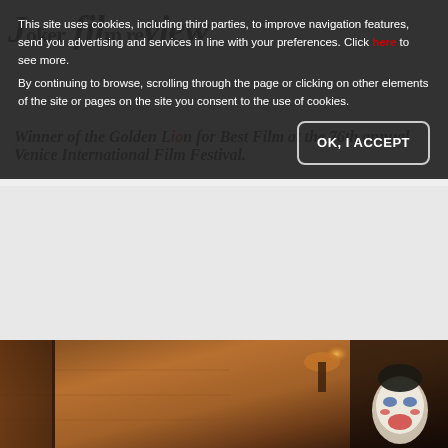Joker film review
This site uses cookies, including third parties, to improve navigation features, send you advertising and services in line with your preferences. Click here to see more. By continuing to browse, scrolling through the page or clicking on other elements of the site or pages on the site you consent to the use of cookies.
OK, I ACCEPT
Winner of the Golden Lion for Best Film at the 76th annual Venice International Film Festival.
[Figure (photo): Film still from Joker showing a warm brown interior room with wood-paneled walls, a lamp, and a man in clown makeup (white face with red and blue paint) visible at the right side of the frame.]